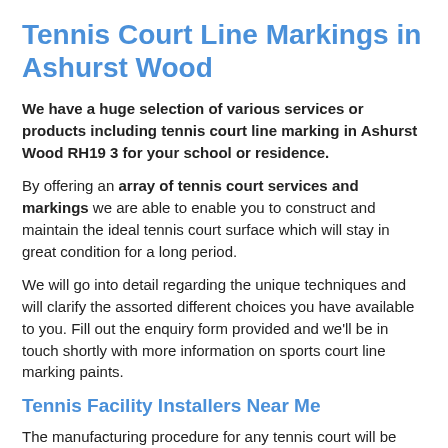Tennis Court Line Markings in Ashurst Wood
We have a huge selection of various services or products including tennis court line marking in Ashurst Wood RH19 3 for your school or residence.
By offering an array of tennis court services and markings we are able to enable you to construct and maintain the ideal tennis court surface which will stay in great condition for a long period.
We will go into detail regarding the unique techniques and will clarify the assorted different choices you have available to you. Fill out the enquiry form provided and we'll be in touch shortly with more information on sports court line marking paints.
Tennis Facility Installers Near Me
The manufacturing procedure for any tennis court will be different in length because of a number of different factors.
There are a number of variables and extra features which can be